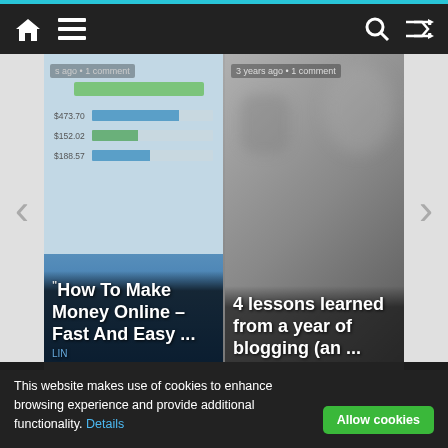[Figure (screenshot): Mobile website navigation bar with home icon, hamburger menu, search icon, and shuffle icon on dark background]
[Figure (screenshot): Two article card slides: left card shows 'How To Make Money Online – Fast And Easy ...' with screenshot of earnings, right card shows '4 lessons learned from a year of blogging (an ...' on grey background. Both have metadata '... ago • 1 comment' and '3 years ago • 1 comment'. Navigation arrows on sides.]
22Views Comment Policy
https://22views.com takes your privacy seriously. This privacy policy describes what personal information we collect and
Please read our Comment Policy before commenting.
This website makes use of cookies to enhance browsing experience and provide additional functionality. Details
Allow cookies